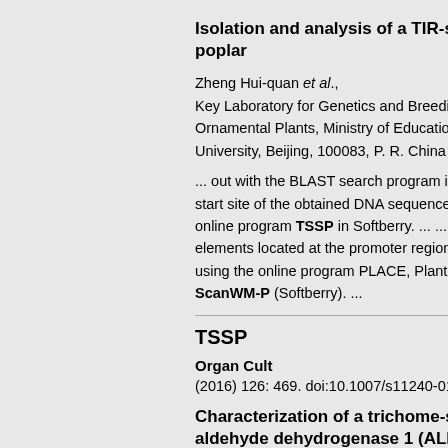Isolation and analysis of a TIR-specific poplar
Zheng Hui-quan et al., Key Laboratory for Genetics and Breeding Ornamental Plants, Ministry of Education University, Beijing, 100083, P. R. China
... out with the BLAST search program in start site of the obtained DNA sequence, online program TSSP in Softberry. ... ... C elements located at the promoter region w using the online program PLACE, PlantC ScanWM-P (Softberry). ...
TSSP
Organ Cult
(2016) 126: 469. doi:10.1007/s11240-016
Characterization of a trichome-specific aldehyde dehydrogenase 1 (ALDH1) g annua
Liu, M. et al., Key Laboratory of Urban Agriculture (Sou Agriculture, Plant Biotechnology Research Agriculture and Biology, Fudan-SJTU-No Biotechnology R&D Center, Shanghai